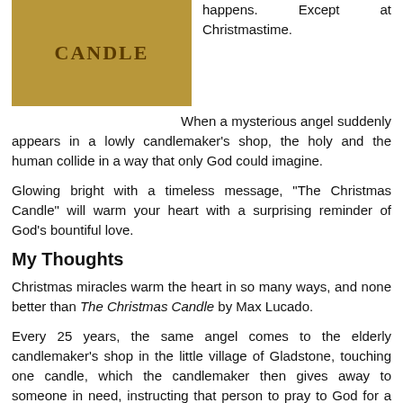[Figure (illustration): Book cover image with golden/tan background showing the word CANDLE in large serif letters]
happens. Except at Christmastime.
When a mysterious angel suddenly appears in a lowly candlemaker's shop, the holy and the human collide in a way that only God could imagine.
Glowing bright with a timeless message, "The Christmas Candle" will warm your heart with a surprising reminder of God's bountiful love.
My Thoughts
Christmas miracles warm the heart in so many ways, and none better than The Christmas Candle by Max Lucado.
Every 25 years, the same angel comes to the elderly candlemaker's shop in the little village of Gladstone, touching one candle, which the candlemaker then gives away to someone in need, instructing that person to pray to God for a miracle after having lit the candle. The miracle always happens. Only now the